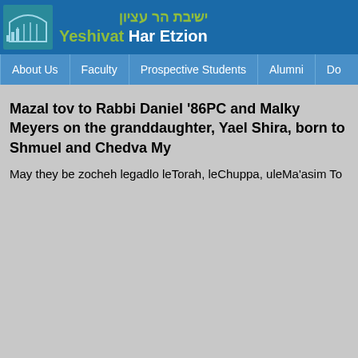[Figure (logo): Yeshivat Har Etzion logo with Hebrew text and building icon on blue background]
About Us | Faculty | Prospective Students | Alumni | Do...
Mazal tov to Rabbi Daniel '86PC and Malky Meyers on the granddaughter, Yael Shira, born to Shmuel and Chedva My...
May they be zocheh legadlo leTorah, leChuppa, uleMa'asim To...